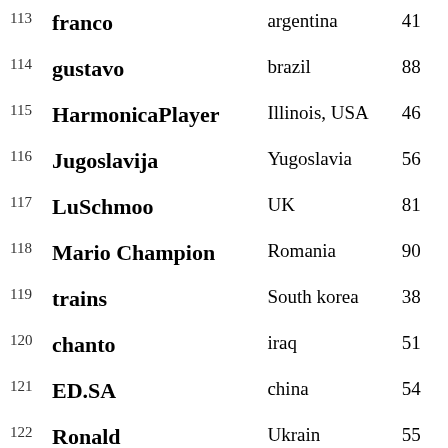| # | Name | Country | Score |
| --- | --- | --- | --- |
| 113 | franco | argentina | 41 |
| 114 | gustavo | brazil | 88 |
| 115 | HarmonicaPlayer | Illinois, USA | 46 |
| 116 | Jugoslavija | Yugoslavia | 56 |
| 117 | LuSchmoo | UK | 81 |
| 118 | Mario Champion | Romania | 90 |
| 119 | trains | South korea | 38 |
| 120 | chanto | iraq | 51 |
| 121 | ED.SA | china | 54 |
| 122 | Ronald | Ukrain | 55 |
|  | AXEL CEPEDA |  |  |